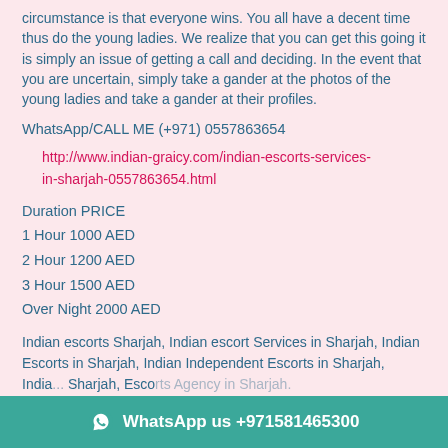circumstance is that everyone wins. You all have a decent time thus do the young ladies. We realize that you can get this going it is simply an issue of getting a call and deciding. In the event that you are uncertain, simply take a gander at the photos of the young ladies and take a gander at their profiles.
WhatsApp/CALL ME (+971) 0557863654
http://www.indian-graicy.com/indian-escorts-services-in-sharjah-0557863654.html
Duration PRICE
1 Hour 1000 AED
2 Hour 1200 AED
3 Hour 1500 AED
Over Night 2000 AED
Indian escorts Sharjah, Indian escort Services in Sharjah, Indian Escorts in Sharjah, Indian Independent Escorts in Sharjah, India... Sharjah, Escorts Agency in Sharjah.
WhatsApp us +971581465300